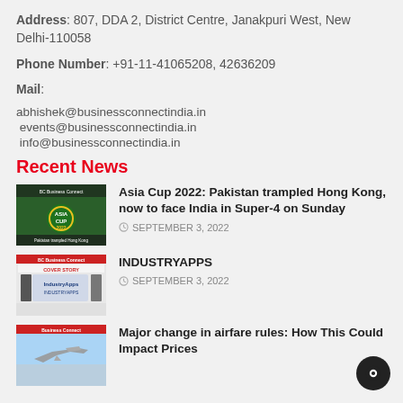Address: 807, DDA 2, District Centre, Janakpuri West, New Delhi-110058
Phone Number: +91-11-41065208, 42636209
Mail:
abhishek@businessconnectindia.in
events@businessconnectindia.in
info@businessconnectindia.in
Recent News
[Figure (photo): Asia Cup 2022 thumbnail with cricket players]
Asia Cup 2022: Pakistan trampled Hong Kong, now to face India in Super-4 on Sunday
SEPTEMBER 3, 2022
[Figure (photo): IndustryApps magazine cover thumbnail]
INDUSTRYAPPS
SEPTEMBER 3, 2022
[Figure (photo): Airplane flying thumbnail]
Major change in airfare rules: How This Could Impact Prices